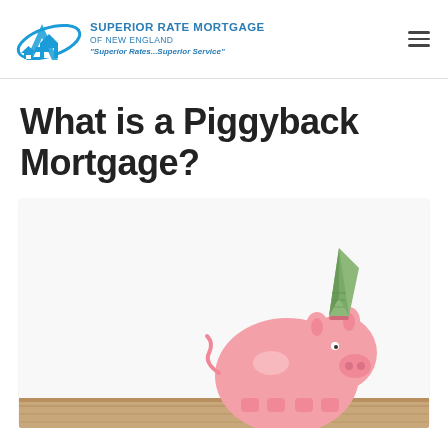Superior Rate Mortgage of New England - "Superior Rates...Superior Service"
What is a Piggyback Mortgage?
[Figure (photo): A pink ceramic piggy bank with a folded dollar bill paper airplane inserted into its coin slot, sitting on a wooden surface against a white background.]